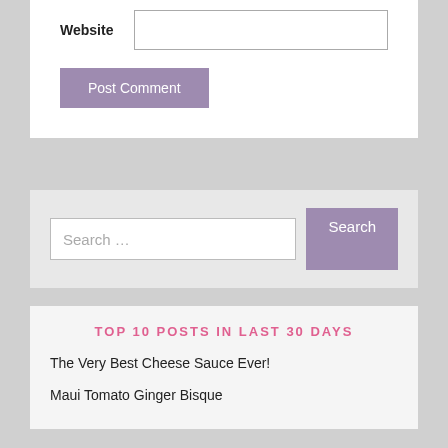Website
Post Comment
Search …
Search
TOP 10 POSTS IN LAST 30 DAYS
The Very Best Cheese Sauce Ever!
Maui Tomato Ginger Bisque